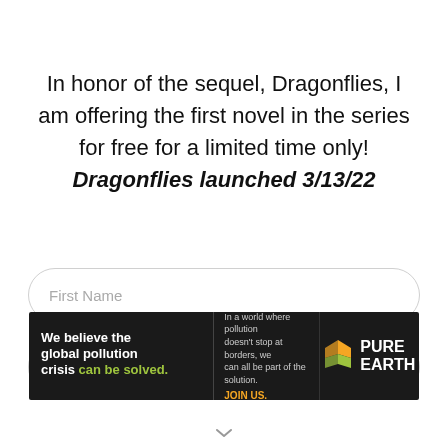In honor of the sequel, Dragonflies, I am offering the first novel in the series for free for a limited time only! Dragonflies launched 3/13/22
First Name
[Figure (other): Advertisement banner for Pure Earth: 'We believe the global pollution crisis can be solved. In a world where pollution doesn't stop at borders, we can all be part of the solution. JOIN US.' with Pure Earth logo.]